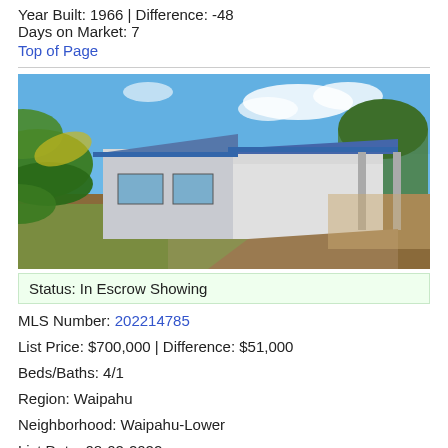Year Built: 1966 | Difference: -48
Days on Market: 7
Top of Page
[Figure (photo): Exterior photo of a single-story house with blue trim roof and carport, surrounded by tropical vegetation and a dirt/grass yard under a partly cloudy blue sky.]
Status: In Escrow Showing
MLS Number: 202214785
List Price: $700,000 | Difference: $51,000
Beds/Baths: 4/1
Region: Waipahu
Neighborhood: Waipahu-Lower
List Date: 08-02-2022
Address: (partially visible)